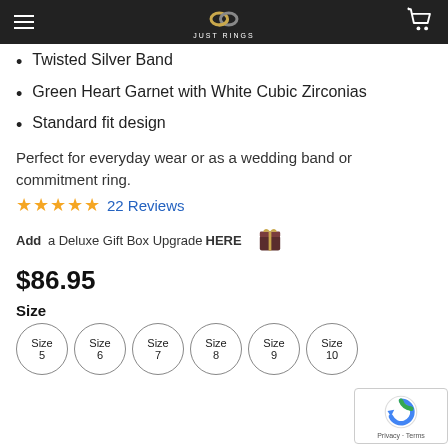Just Rings
Twisted Silver Band
Green Heart Garnet with White Cubic Zirconias
Standard fit design
Perfect for everyday wear or as a wedding band or commitment ring.
★★★★★ 22 Reviews
Add a Deluxe Gift Box Upgrade HERE
$86.95
Size
Size 5
Size 6
Size 7
Size 8
Size 9
Size 10